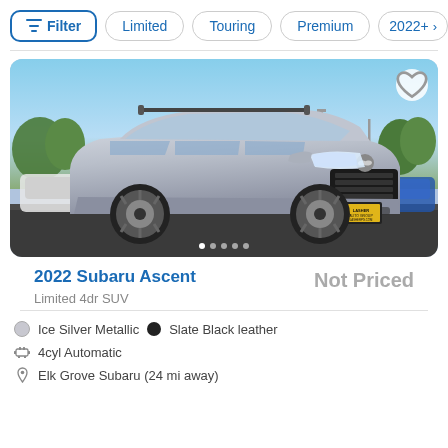Filter | Limited | Touring | Premium | 2022+
[Figure (photo): 2022 Subaru Ascent Limited 4dr SUV in Ice Silver Metallic at a dealership lot with trees and light poles in the background. A white SUV and blue car are visible in the background. Lasher Auto Group dealer plate visible.]
2022 Subaru Ascent
Limited 4dr SUV
Not Priced
Ice Silver Metallic · Slate Black leather
4cyl Automatic
Elk Grove Subaru (24 mi away)